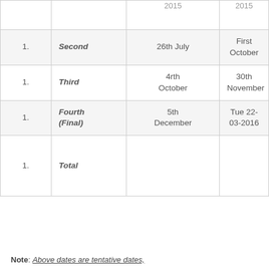| # | Instalment | Date | Due Date |
| --- | --- | --- | --- |
| 1. | Second | 26th July | First October |
| 1. | Third | 4rth October | 30th November |
| 1. | Fourth (Final) | 5th December | Tue 22-03-2016 |
| 1. | Total |  |  |
Note: Above dates are tentative dates,